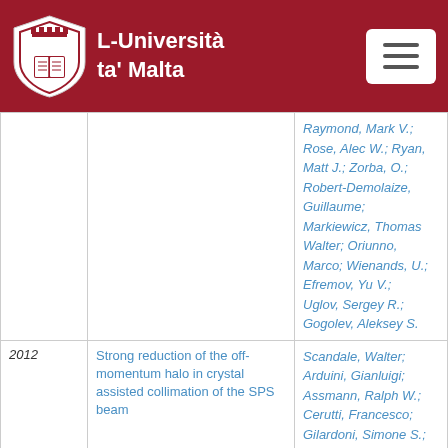L-Università ta' Malta
| Year | Title | Authors |
| --- | --- | --- |
|  |  | Raymond, Mark V.; Rose, Alec W.; Ryan, Matt J.; Zorba, O.; Robert-Demolaize, Guillaume; Markiewicz, Thomas Walter; Oriunno, Marco; Wienands, U.; Efremov, Yu V.; Uglov, Sergey R.; Gogolev, Aleksey S. |
| 2012 | Strong reduction of the off-momentum halo in crystal assisted collimation of the SPS beam | Scandale, Walter; Arduini, Gianluigi; Assmann, Ralph W.; Cerutti, Francesco; Gilardoni, Simone S.; Laface, Emanuele; Losito, Roberto; Masi, Alessandro; |